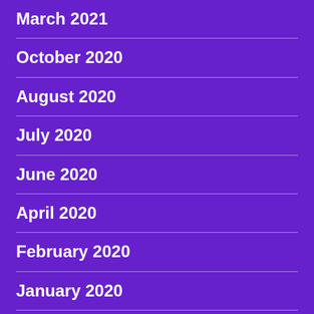March 2021
October 2020
August 2020
July 2020
June 2020
April 2020
February 2020
January 2020
December 2019